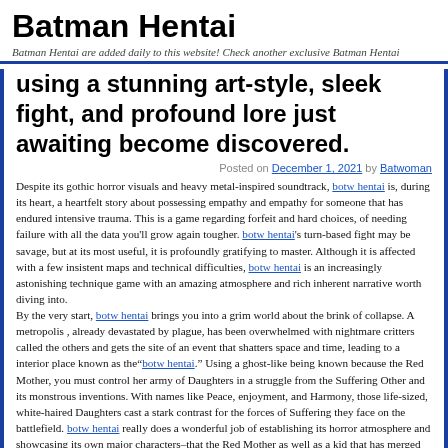Batman Hentai
Batman Hentai are added daily to this website! Check another exclusive Batman Hentai
using a stunning art-style, sleek fight, and profound lore just awaiting become discovered.
Posted on December 1, 2021 by Batwoman
Despite its gothic horror visuals and heavy metal-inspired soundtrack, botw hentai is, during its heart, a heartfelt story about possessing empathy and empathy for someone that has endured intensive trauma. This is a game regarding forfeit and hard choices, of needing failure with all the data you'll grow again tougher. botw hentai's turn-based fight may be savage, but at its most useful, it is profoundly gratifying to master. Although it is affected with a few insistent maps and technical difficulties, botw hentai is an increasingly astonishing technique game with an amazing atmosphere and rich inherent narrative worth diving into.
By the very start, botw hentai brings you into a grim world about the brink of collapse. A metropolis , already devastated by plague, has been overwhelmed with nightmare critters called the others and gets the site of an event that shatters space and time, leading to a interior place known as the“botw hentai.” Using a ghost-like being known because the Red Mother, you must control her army of Daughters in a struggle from the Suffering Other and its monstrous inventions. With names like Peace, enjoyment, and Harmony, those life-sized, white-haired Daughters cast a stark contrast for the forces of Suffering they face on the battlefield. botw hentai really does a wonderful job of establishing its horror atmosphere and showcasing its own major characters–that the Red Mother as well as a kid that has merged with Suffering–in a sense that instantly grabs you, compelling you to tease its secrets.